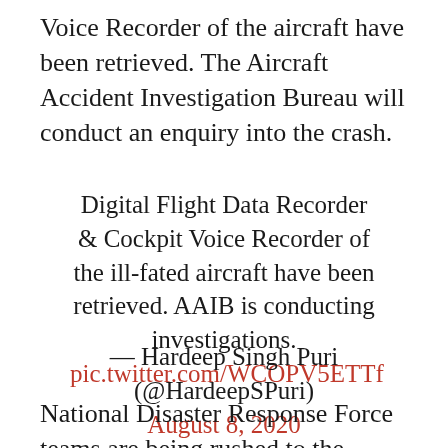Voice Recorder of the aircraft have been retrieved. The Aircraft Accident Investigation Bureau will conduct an enquiry into the crash.
Digital Flight Data Recorder & Cockpit Voice Recorder of the ill-fated aircraft have been retrieved. AAIB is conducting investigations.
pic.twitter.com/WCOPV5ETTf
— Hardeep Singh Puri (@HardeepSPuri)
August 8, 2020
National Disaster Response Force teams are being rushed to the airport to help